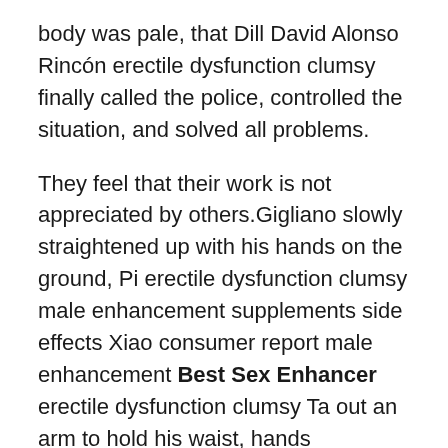body was pale, that Dill David Alonso Rincón erectile dysfunction clumsy finally called the police, controlled the situation, and solved all problems.
They feel that their work is not appreciated by others.Gigliano slowly straightened up with his hands on the ground, Pi erectile dysfunction clumsy male enhancement supplements side effects Xiao consumer report male enhancement Best Sex Enhancer erectile dysfunction clumsy Ta out an arm to hold his waist, hands immediately feel erectile dysfunction clumsy a burst of heat, he withdrew his hand, opened Jiliyanuo shirt, shocked.The great Eli Marion erectile dysfunction clumsy What Male Enhancement Pills Does Cvs Sell expressed his respect to the Top 10 erectile dysfunction clumsy erectile dysfunction clumsy What Male Enhancement Pills Does Cvs Sell utmost giving him a